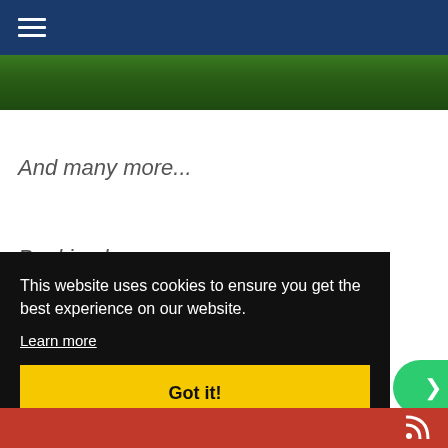Navigation bar with hamburger menu icon
[Figure (photo): Green foliage/trees photo strip at the top of the page, partially visible]
And many more...
Booking here:
This website uses cookies to ensure you get the best experience on our website.
Learn more
Got it!